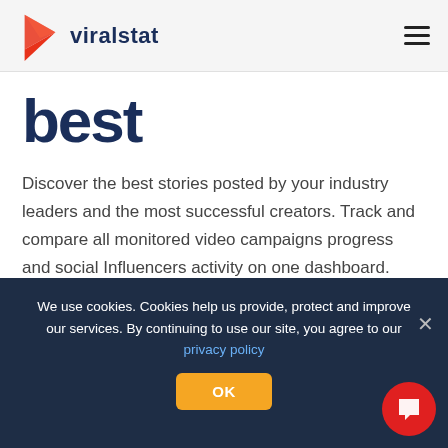viralstat
best
Discover the best stories posted by your industry leaders and the most successful creators. Track and compare all monitored video campaigns progress and social Influencers activity on one dashboard. Catch the most engaging content and learn how you could improve your communication. Gain valuable insights
We use cookies. Cookies help us provide, protect and improve our services. By continuing to use our site, you agree to our privacy policy
OK